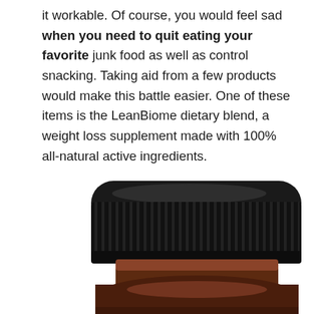it workable. Of course, you would feel sad when you need to quit eating your favorite junk food as well as control snacking. Taking aid from a few products would make this battle easier. One of these items is the LeanBiome dietary blend, a weight loss supplement made with 100% all-natural active ingredients.
[Figure (photo): Close-up photo of the top and cap of an amber glass supplement bottle with a black ribbed screw cap, showing the neck and upper body of the bottle against a white background.]